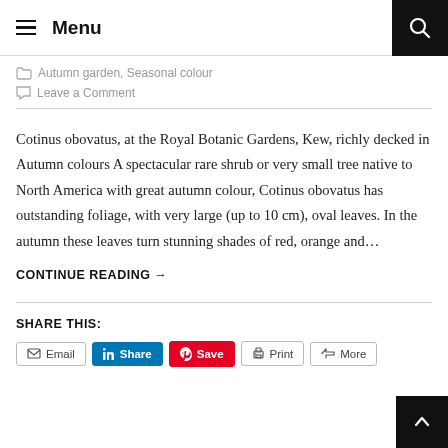Menu
Autumn garden, Seasonal colour
Leave a Comment
Cotinus obovatus, at the Royal Botanic Gardens, Kew, richly decked in Autumn colours A spectacular rare shrub or very small tree native to North America with great autumn colour, Cotinus obovatus has outstanding foliage, with very large (up to 10 cm), oval leaves. In the autumn these leaves turn stunning shades of red, orange and…
CONTINUE READING →
SHARE THIS:
Email  Share  Save  Print  More